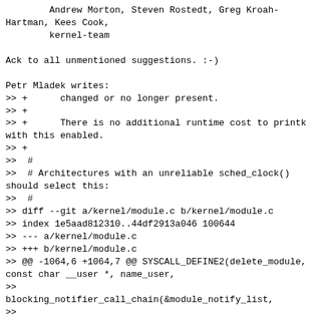Andrew Morton, Steven Rostedt, Greg Kroah-Hartman, Kees Cook,
        kernel-team

Ack to all unmentioned suggestions. :-)

Petr Mladek writes:
>> +      changed or no longer present.
>> +
>> +      There is no additional runtime cost to printk with this enabled.
>> +
>>  #
>>  # Architectures with an unreliable sched_clock() should select this:
>>  #
>> diff --git a/kernel/module.c b/kernel/module.c
>> index 1e5aad812310..44df2913a046 100644
>> --- a/kernel/module.c
>> +++ b/kernel/module.c
>> @@ -1064,6 +1064,7 @@ SYSCALL_DEFINE2(delete_module, const char __user *, name_user,
>>
blocking_notifier_call_chain(&module_notify_list,
>>
MODULE_STATE_GOING, mod);
>>        klp_module_going(mod);
>> +      pi_sec_remove(mod);
>
>Is there any particular reason why this is not done